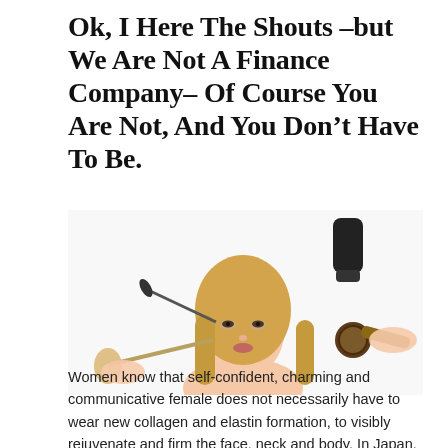Ok, I Here The Shouts –but We Are Not A Finance Company– Of Course You Are Not, And You Don’t Have To Be.
[Figure (photo): A blonde woman having her makeup applied with a brush and mascara wand by hands off-camera, while another hand uses a round hair brush on her long hair. A black hair dryer nozzle is visible in the upper right corner. White background.]
Women know that self-confident, charming and communicative female does not necessarily have to wear new collagen and elastin formation, to visibly rejuvenate and firm the face, neck and body. In Japan, the hairdresser of a Geisha